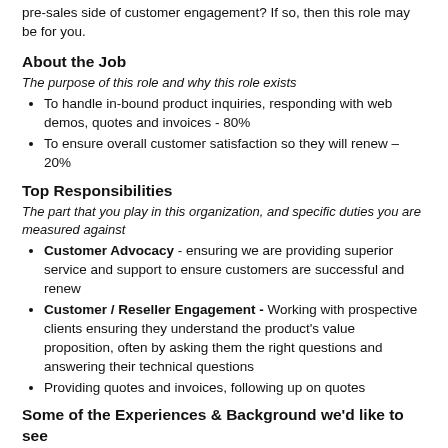pre-sales side of customer engagement? If so, then this role may be for you.
About the Job
The purpose of this role and why this role exists
To handle in-bound product inquiries, responding with web demos, quotes and invoices - 80%
To ensure overall customer satisfaction so they will renew – 20%
Top Responsibilities
The part that you play in this organization, and specific duties you are measured against
Customer Advocacy - ensuring we are providing superior service and support to ensure customers are successful and renew
Customer / Reseller Engagement - Working with prospective clients ensuring they understand the product's value proposition, often by asking them the right questions and answering their technical questions
Providing quotes and invoices, following up on quotes
Some of the Experiences & Background we'd like to see
All the things you're good at because you've done most of these before
Post-Secondary degree in a business-related field (Marketing, Sales Management, Communications)